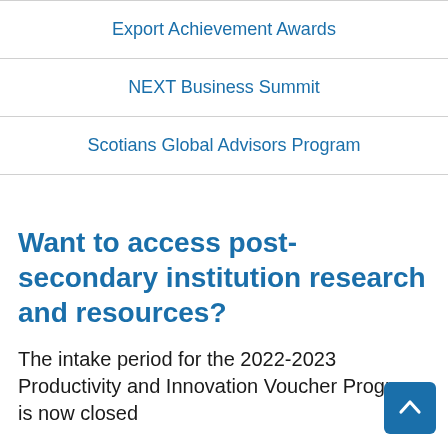Export Achievement Awards
NEXT Business Summit
Scotians Global Advisors Program
Want to access post-secondary institution research and resources?
The intake period for the 2022-2023 Productivity and Innovation Voucher Program is now closed